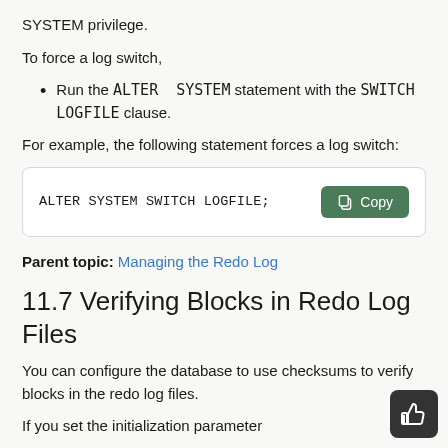SYSTEM privilege.
To force a log switch,
Run the ALTER SYSTEM statement with the SWITCH LOGFILE clause.
For example, the following statement forces a log switch:
ALTER SYSTEM SWITCH LOGFILE;
Parent topic: Managing the Redo Log
11.7 Verifying Blocks in Redo Log Files
You can configure the database to use checksums to verify blocks in the redo log files.
If you set the initialization parameter